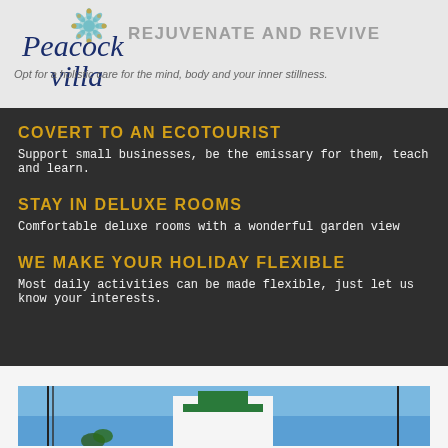[Figure (logo): Peacock Villa logo with decorative snowflake/mandala element in blue script font]
REJUVENATE AND REVIVE
Opt for a holistic care for the mind, body and your inner stillness.
COVERT TO AN ECOTOURIST
Support small businesses, be the emissary for them, teach and learn.
STAY IN DELUXE ROOMS
Comfortable deluxe rooms with a wonderful garden view
WE MAKE YOUR HOLIDAY FLEXIBLE
Most daily activities can be made flexible, just let us know your interests.
[Figure (photo): Exterior photo of Peacock Villa building with blue sky background]